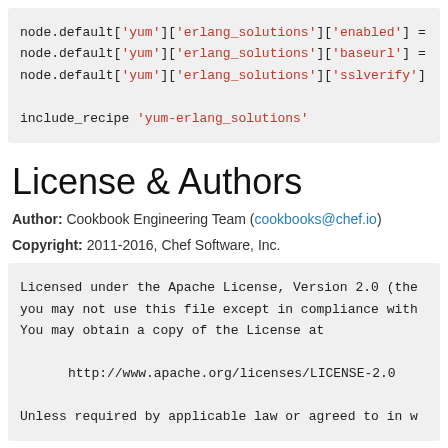[Figure (screenshot): Code block showing node.default Ruby configuration lines with string keys highlighted in red, followed by include_recipe call.]
License & Authors
Author: Cookbook Engineering Team (cookbooks@chef.io)
Copyright: 2011-2016, Chef Software, Inc.
[Figure (screenshot): Code block showing Apache License 2.0 header text: 'Licensed under the Apache License, Version 2.0 (the', 'you may not use this file except in compliance with', 'You may obtain a copy of the License at', followed by URL http://www.apache.org/licenses/LICENSE-2.0, and 'Unless required by applicable law or agreed to in w']